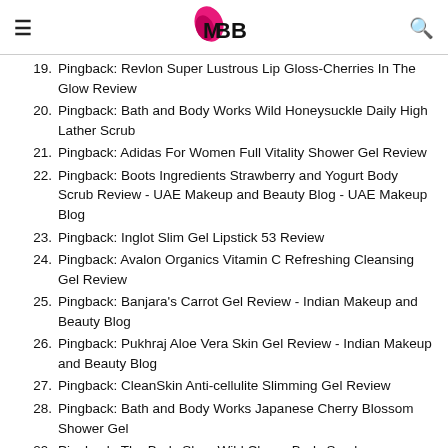IMBB
19. Pingback: Revlon Super Lustrous Lip Gloss-Cherries In The Glow Review
20. Pingback: Bath and Body Works Wild Honeysuckle Daily High Lather Scrub
21. Pingback: Adidas For Women Full Vitality Shower Gel Review
22. Pingback: Boots Ingredients Strawberry and Yogurt Body Scrub Review - UAE Makeup and Beauty Blog - UAE Makeup Blog
23. Pingback: Inglot Slim Gel Lipstick 53 Review
24. Pingback: Avalon Organics Vitamin C Refreshing Cleansing Gel Review
25. Pingback: Banjara's Carrot Gel Review - Indian Makeup and Beauty Blog
26. Pingback: Pukhraj Aloe Vera Skin Gel Review - Indian Makeup and Beauty Blog
27. Pingback: CleanSkin Anti-cellulite Slimming Gel Review
28. Pingback: Bath and Body Works Japanese Cherry Blossom Shower Gel
29. Pingback: The Body Shop Wild Cherry Body Scrub